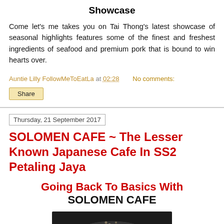Showcase
Come let's me takes you on Tai Thong's latest showcase of seasonal highlights features some of the finest and freshest ingredients of seafood and premium pork that is bound to win hearts over.
Auntie Lilly FollowMeToEatLa at 02:28   No comments:
Share
Thursday, 21 September 2017
SOLOMEN CAFE ~ The Lesser Known Japanese Cafe In SS2 Petaling Jaya
Going Back To Basics With SOLOMEN CAFE
[Figure (photo): A bowl of food, photographed from above, dark background]